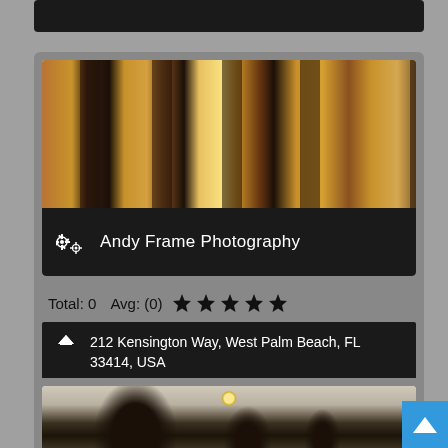[Figure (photo): Partial top of a dark business listing card, cropped at the top of the page]
[Figure (photo): Photo of a building entrance with wooden French doors, shutters, and wall-mounted lanterns with warm ambient lighting]
Andy Frame Photography
Total: 0   Avg: (0) ★★★★★
212 Kensington Way, West Palm Beach, FL 33414, USA
(561) 843-5004,
[Figure (photo): Partial bottom listing card showing a building exterior with arched entrance and lanterns, partially cropped at the bottom of the page]